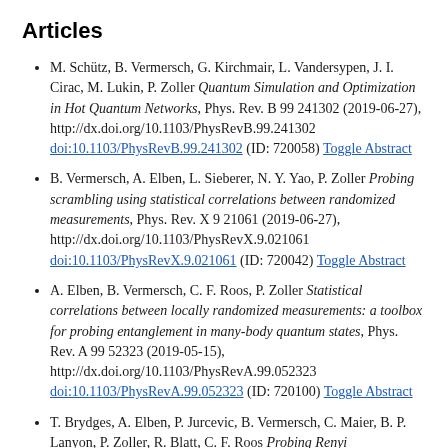Articles
M. Schütz, B. Vermersch, G. Kirchmair, L. Vandersypen, J. I. Cirac, M. Lukin, P. Zoller Quantum Simulation and Optimization in Hot Quantum Networks, Phys. Rev. B 99 241302 (2019-06-27), http://dx.doi.org/10.1103/PhysRevB.99.241302 doi:10.1103/PhysRevB.99.241302 (ID: 720058) Toggle Abstract
B. Vermersch, A. Elben, L. Sieberer, N. Y. Yao, P. Zoller Probing scrambling using statistical correlations between randomized measurements, Phys. Rev. X 9 21061 (2019-06-27), http://dx.doi.org/10.1103/PhysRevX.9.021061 doi:10.1103/PhysRevX.9.021061 (ID: 720042) Toggle Abstract
A. Elben, B. Vermersch, C. F. Roos, P. Zoller Statistical correlations between locally randomized measurements: a toolbox for probing entanglement in many-body quantum states, Phys. Rev. A 99 52323 (2019-05-15), http://dx.doi.org/10.1103/PhysRevA.99.052323 doi:10.1103/PhysRevA.99.052323 (ID: 720100) Toggle Abstract
T. Brydges, A. Elben, P. Jurcevic, B. Vermersch, C. Maier, B. P. Lanyon, P. Zoller, R. Blatt, C. F. Roos Probing Renyi …